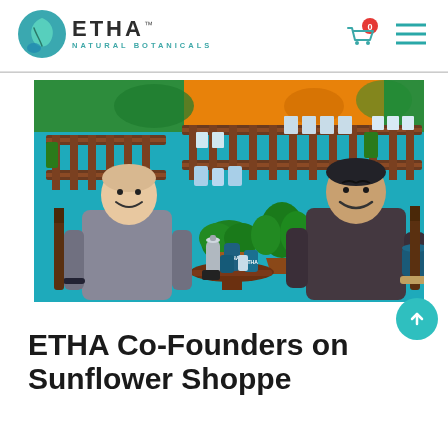ETHA Natural Botanicals — site header with logo, cart, and navigation menu
[Figure (photo): Two men sitting and smiling in a teal studio set decorated with wooden pallet shelving holding product packets, potted green plants, and ETHA branded products on a round table between them. Background has a colorful tropical mural.]
ETHA Co-Founders on Sunflower Shoppe